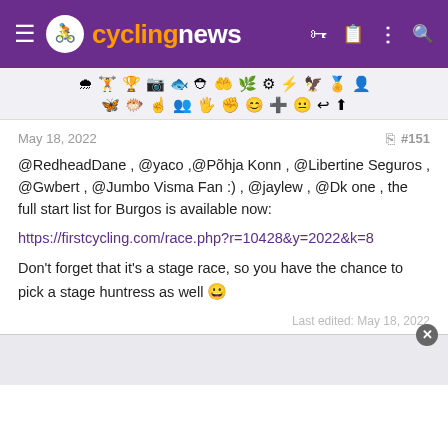cyclingnews
[Figure (screenshot): Emoji/reaction toolbar with two rows of emoji and icon symbols]
May 18, 2022  #151
@RedheadDane , @yaco ,@Põhja Konn , @Libertine Seguros , @Gwbert , @Jumbo Visma Fan :) , @jaylew , @Dk one , the full start list for Burgos is available now:

https://firstcycling.com/race.php?r=10428&y=2022&k=8

Don't forget that it's a stage race, so you have the chance to pick a stage huntress as well 😀
Last edited: May 18, 2022